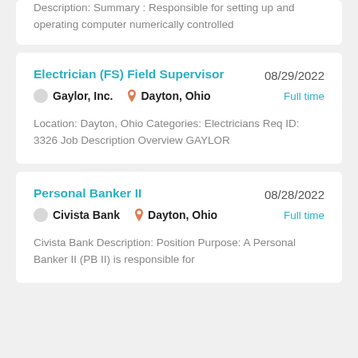Description: Summary : Responsible for setting up and operating computer numerically controlled
Electrician (FS) Field Supervisor
08/29/2022
Gaylor, Inc.
Dayton, Ohio
Full time
Location: Dayton, Ohio Categories: Electricians Req ID: 3326 Job Description Overview GAYLOR
Personal Banker II
08/28/2022
Civista Bank
Dayton, Ohio
Full time
Civista Bank Description: Position Purpose: A Personal Banker II (PB II) is responsible for